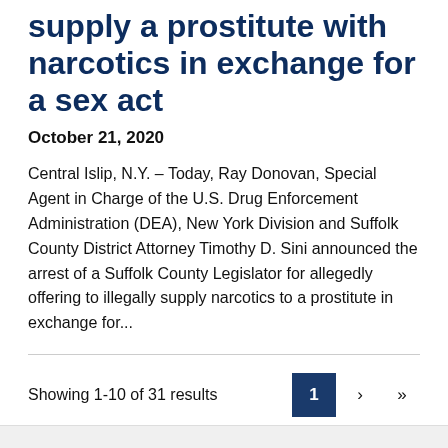supply a prostitute with narcotics in exchange for a sex act
October 21, 2020
Central Islip, N.Y. – Today, Ray Donovan, Special Agent in Charge of the U.S. Drug Enforcement Administration (DEA), New York Division and Suffolk County District Attorney Timothy D. Sini announced the arrest of a Suffolk County Legislator for allegedly offering to illegally supply narcotics to a prostitute in exchange for...
Showing 1-10 of 31 results